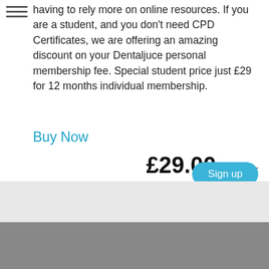having to rely more on online resources. If you are a student, and you don't need CPD Certificates, we are offering an amazing discount on your Dentaljuce personal membership fee. Special student price just £29 for 12 months individual membership.
Buy Now
£29.00 per year
Sign up
This website is so great,